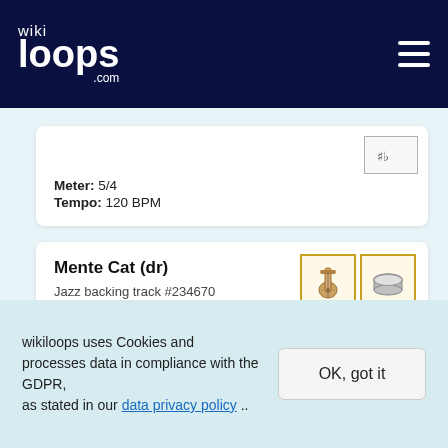wikiloops.com
Meter: 5/4
Tempo: 120 BPM
Mente Cat (dr)
Jazz backing track #234670
Meter: 5/4
Tempo: 160 BPM
Musical key: A minor
Sounds like: Swing
wikiloops uses Cookies and processes data in compliance with the GDPR, as stated in our data privacy policy ..